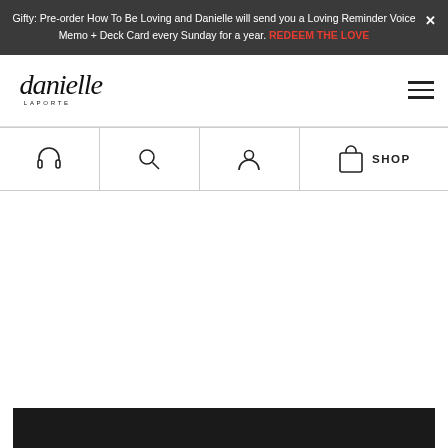Gifty: Pre-order How To Be Loving and Danielle will send you a Loving Reminder Voice Memo + Deck Card every Sunday for a year. REDEEM THE LOVE
[Figure (logo): Danielle LaPorte cursive signature logo with LAPORTE text beneath]
[Figure (infographic): Navigation icon bar with headphones, search, user/person, shopping bag icons and SHOP label]